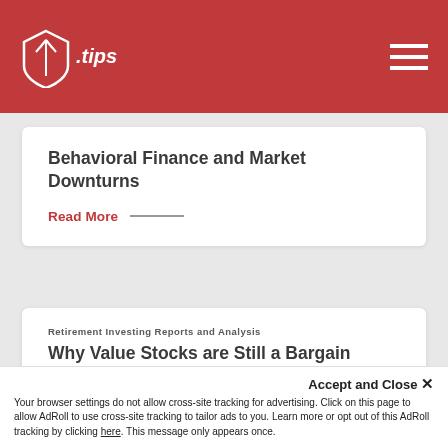.tips
Behavioral Finance and Market Downturns
Read More
Retirement Investing Reports and Analysis
Why Value Stocks are Still a Bargain
Read More
[Figure (photo): Partial photo of people, cropped at bottom of page]
Accept and Close ×
Your browser settings do not allow cross-site tracking for advertising. Click on this page to allow AdRoll to use cross-site tracking to tailor ads to you. Learn more or opt out of this AdRoll tracking by clicking here. This message only appears once.